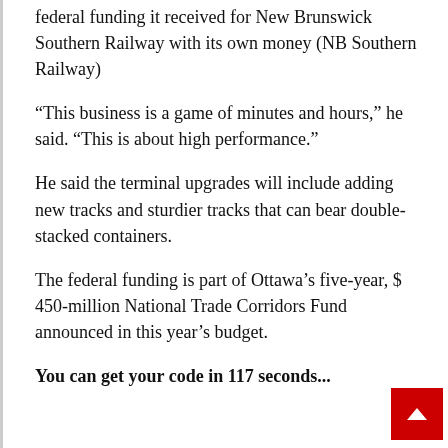federal funding it received for New Brunswick Southern Railway with its own money (NB Southern Railway)
“This business is a game of minutes and hours,” he said. “This is about high performance.”
He said the terminal upgrades will include adding new tracks and sturdier tracks that can bear double-stacked containers.
The federal funding is part of Ottawa’s five-year, $ 450-million National Trade Corridors Fund announced in this year’s budget.
You can get your code in 117 seconds...